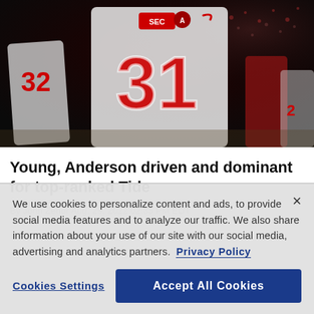[Figure (photo): Alabama football players in white jerseys with red numbers, including player #31, on a dark sideline background. SEC and Alabama logos visible on jerseys.]
Young, Anderson driven and dominant for top-ranked Tide
By John Zenor Aug. 29, 2022 02:35 PM EDT
We use cookies to personalize content and ads, to provide social media features and to analyze our traffic. We also share information about your use of our site with our social media, advertising and analytics partners.  Privacy Policy
Cookies Settings
Accept All Cookies